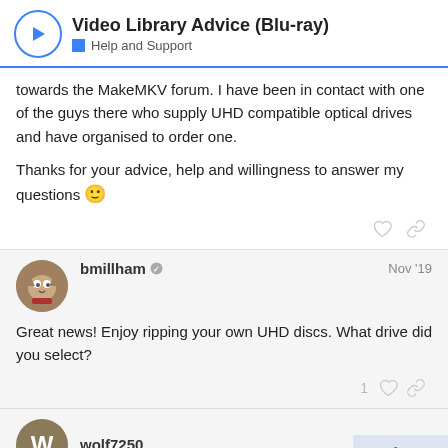Video Library Advice (Blu-ray) — Help and Support
towards the MakeMKV forum. I have been in contact with one of the guys there who supply UHD compatible optical drives and have organised to order one.

Thanks for your advice, help and willingness to answer my questions 🙂
bmillham — Nov '19
Great news! Enjoy ripping your own UHD discs. What drive did you select?
wolf7250
6 / 12